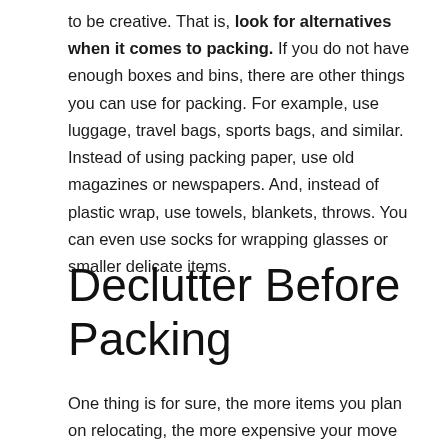to be creative. That is, look for alternatives when it comes to packing. If you do not have enough boxes and bins, there are other things you can use for packing. For example, use luggage, travel bags, sports bags, and similar. Instead of using packing paper, use old magazines or newspapers. And, instead of plastic wrap, use towels, blankets, throws. You can even use socks for wrapping glasses or smaller delicate items.
Declutter Before Packing
One thing is for sure, the more items you plan on relocating, the more expensive your move will be.